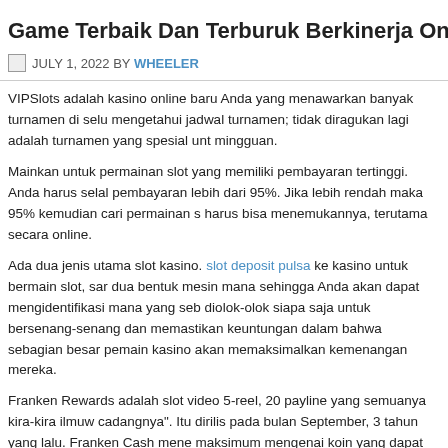Game Terbaik Dan Terburuk Berkinerja Online Pasti Uang
JULY 1, 2022 BY WHEELER
VIPSlots adalah kasino online baru Anda yang menawarkan banyak turnamen di selu mengetahui jadwal turnamen; tidak diragukan lagi adalah turnamen yang spesial unt mingguan.
Mainkan untuk permainan slot yang memiliki pembayaran tertinggi. Anda harus selal pembayaran lebih dari 95%. Jika lebih rendah maka 95% kemudian cari permainan s harus bisa menemukannya, terutama secara online.
Ada dua jenis utama slot kasino. slot deposit pulsa ke kasino untuk bermain slot, sar dua bentuk mesin mana sehingga Anda akan dapat mengidentifikasi mana yang seb diolok-olok siapa saja untuk bersenang-senang dan memastikan keuntungan dalam bahwa sebagian besar pemain kasino akan memaksimalkan kemenangan mereka.
Franken Rewards adalah slot video 5-reel, 20 payline yang semuanya kira-kira ilmuw cadangnya". Itu dirilis pada bulan September, 3 tahun yang lalu. Franken Cash mene maksimum mengenai koin yang dapat dipertaruhkan per putaran adalah 200. Jackpo
Menangkan uang bermain blackjack tips # 2: Ini hanya disarankan spot taruhan asur mungkin lebih dan dealer slot kasino memiliki kartu as. Membeli asuransi dengan jur menyia-nyiakan gulungan bank Anda, ini tidak pernah merupakan hal yang baik